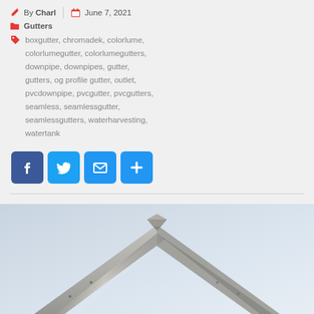By Charl | June 7, 2021
Gutters
boxgutter, chromadek, colorlume, colorlumegutter, colorlumegutters, downpipe, downpipes, gutter, gutters, og profile gutter, outlet, pvcdownpipe, pvcgutter, pvcgutters, seamless, seamlessgutter, seamlessgutters, waterharvesting, watertank
[Figure (other): Social share buttons: Facebook, Twitter, Email, More (+)]
[Figure (photo): Close-up photograph of a metal box gutter at a roof ridge corner, showing aluminium/chromadek material against a pale blue sky background]